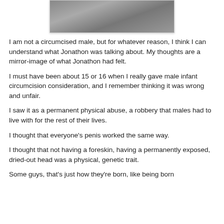[Figure (photo): Partial photo of a surface, cropped at the top of the page]
I am not a circumcised male, but for whatever reason, I think I can understand what Jonathon was talking about. My thoughts are a mirror-image of what Jonathon had felt.
I must have been about 15 or 16 when I really gave male infant circumcision consideration, and I remember thinking it was wrong and unfair.
I saw it as a permanent physical abuse, a robbery that males had to live with for the rest of their lives.
I thought that everyone's penis worked the same way.
I thought that not having a foreskin, having a permanently exposed, dried-out head was a physical, genetic trait.
Some guys, that's just how they're born, like being born